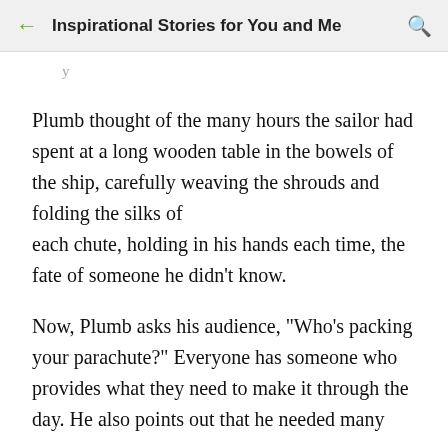Inspirational Stories for You and Me
Plumb thought of the many hours the sailor had spent at a long wooden table in the bowels of the ship, carefully weaving the shrouds and folding the silks of each chute, holding in his hands each time, the fate of someone he didn't know.
Now, Plumb asks his audience, "Who's packing your parachute?" Everyone has someone who provides what they need to make it through the day. He also points out that he needed many